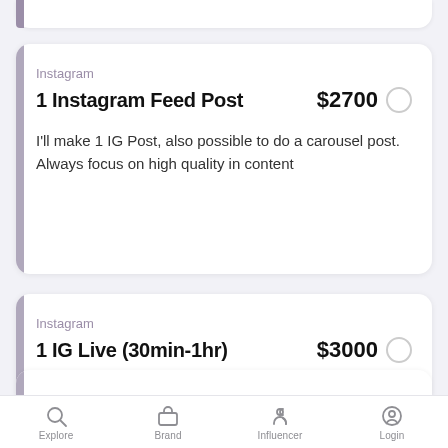Instagram
1 Instagram Feed Post
$2700
I'll make 1 IG Post, also possible to do a carousel post. Always focus on high quality in content
Instagram
1 IG Live (30min-1hr)
$3000
Live shopping or other creative ideas. I love this and I have high engagement within my followers.
Explore   Brand   Influencer   Login